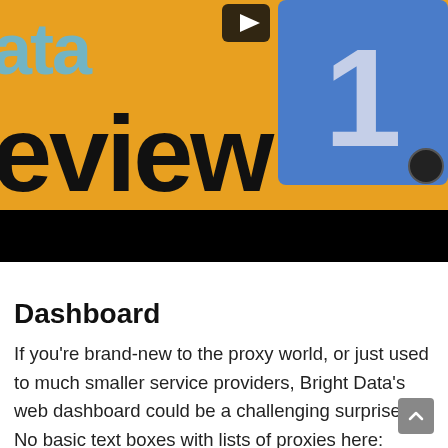[Figure (screenshot): Cropped thumbnail image showing a yellow/orange background with partial text 'ata' in blue and 'eview' in bold black, a blue box with white number '1', a YouTube play button icon, and a small circular icon. Below is a black bar.]
Dashboard
If you're brand-new to the proxy world, or just used to much smaller service providers, Bright Data's web dashboard could be a challenging surprise. No basic text boxes with lists of proxies here: instead, there's a bunch of summary informa